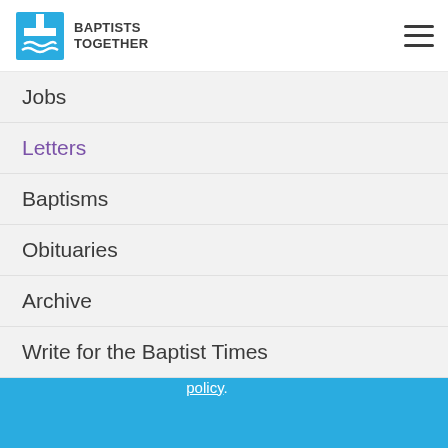Baptists Together
Jobs
Letters
Baptisms
Obituaries
Archive
Write for the Baptist Times
[Figure (logo): Baptist Times logo with cross and wave icon]
This site uses cookies. If you continue to use the site you agree to this. For more details please see our cookies policy.